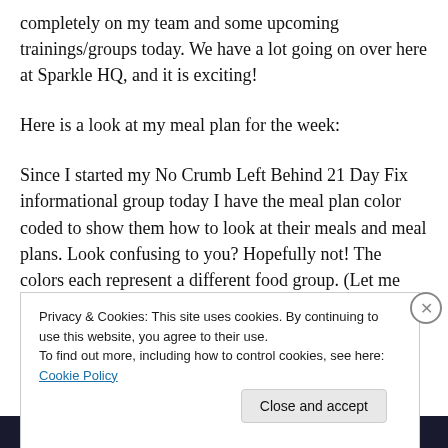completely on my team and some upcoming trainings/groups today. We have a lot going on over here at Sparkle HQ, and it is exciting!
Here is a look at my meal plan for the week:
Since I started my No Crumb Left Behind 21 Day Fix informational group today I have the meal plan color coded to show them how to look at their meals and meal plans. Look confusing to you? Hopefully not! The colors each represent a different food group. (Let me know if you need help with your own meal plan…I can help you make
Privacy & Cookies: This site uses cookies. By continuing to use this website, you agree to their use.
To find out more, including how to control cookies, see here: Cookie Policy
Build a better web and a better world.